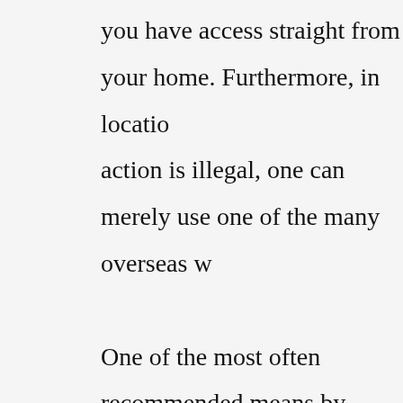you have access straight from your home. Furthermore, in locations where the action is illegal, one can merely use one of the many overseas w… One of the most often recommended means by which an individual finds a good web-based casino to sign up with is applying reputable review sites. Assessment sites give a mountain of information that makes an individual better inside their selection of casino on the web real cash sites. Among others, one must confirm is that based on their place of origin, if they are allo… Several websites have some restrictions concerning where they offer their service and they might freeze your account, should you be found… uploaded money out of your credit-card then this may indicate so… also understand which sites are best depending on the particular… use such as an android phone, or Mac computer. If you're a high roller, then you likely prefer sites that provide you…